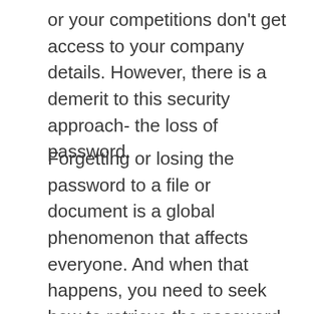or your competitions don't get access to your company details. However, there is a demerit to this security approach- the loss of password.
Forgetting or losing the password to a file or document is a global phenomenon that affects everyone. And when that happens, you need to seek how to retrieve the password so you can reaccess the files. There are endless ways to achieve this; however, just a few of them work. Here in this article, you will find the guide containing the four methods to unlock ZIP files without passwords. Keep reading to